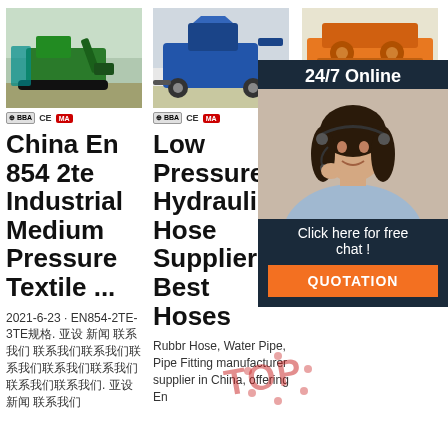[Figure (photo): Green excavator machine outdoors]
[Figure (photo): Blue concrete pump machine]
[Figure (photo): Orange industrial pump/drilling machine]
China En 854 2te Industrial Medium Pressure Textile ...
Low Pressure Hydraulic Hose Supplier - Best Hoses
Pr W Ho Pr W Hose,
2021-6-23 · EN854-2TE-3TE规格. 亚设 新闻 联系我们联系我们联系我们联系我们联系我们联系我们联系我们联系我们. 亚设 新闻 联系我们
Rubbr Hose, Water Pipe, Pipe Fitting manufacturer supplier in China, offering En
EN854 2TE MEDIUM PRESSURE TEXTILE REINFORCED HYDRAULIC RUBBER
[Figure (photo): Customer service agent with headset, 24/7 Online popup overlay with QUOTATION button]